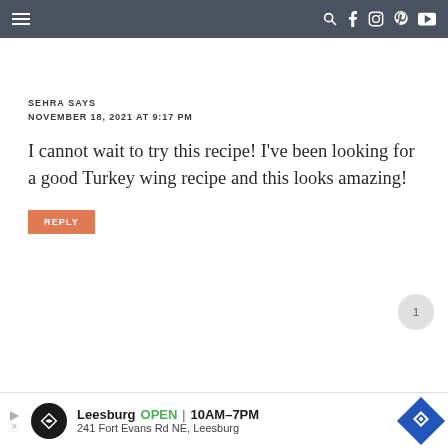Navigation bar with hamburger menu and social icons
SEHRA SAYS
NOVEMBER 18, 2021 AT 9:17 PM
I cannot wait to try this recipe! I’ve been looking for a good Turkey wing recipe and this looks amazing!
REPLY
Leesburg OPEN 10AM–7PM 241 Fort Evans Rd NE, Leesburg